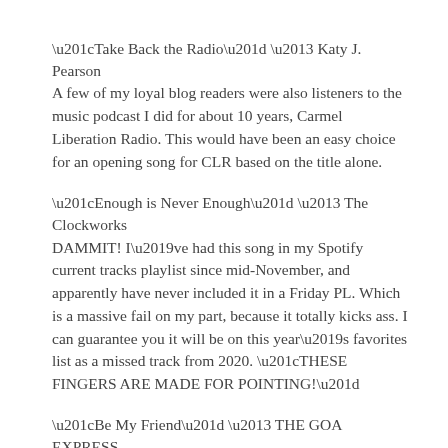“Take Back the Radio” – Katy J. Pearson
A few of my loyal blog readers were also listeners to the music podcast I did for about 10 years, Carmel Liberation Radio. This would have been an easy choice for an opening song for CLR based on the title alone.
“Enough is Never Enough” – The Clockworks
DAMMIT! I’ve had this song in my Spotify current tracks playlist since mid-November, and apparently have never included it in a Friday PL. Which is a massive fail on my part, because it totally kicks ass. I can guarantee you it will be on this year’s favorites list as a missed track from 2020. “THESE FINGERS ARE MADE FOR POINTING!”
“Be My Friend” – THE GOA EXPRESS
Some scorching-hot rock from the north of England. We need more songs like this. These kids only have two songs on Spotify. I would submit that they need more.